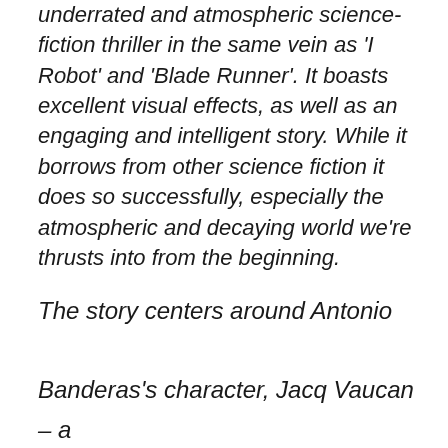underrated and atmospheric science-fiction thriller in the same vein as 'I Robot' and 'Blade Runner'. It boasts excellent visual effects, as well as an engaging and intelligent story. While it borrows from other science fiction it does so successfully, especially the atmospheric and decaying world we're thrusts into from the beginning. The story centers around Antonio Banderas's character, Jacq Vaucan – a world-weary insurance agent for a robotics corporation whose job is to investigate robots violating their protocols which are one: harming any form of life, and two: they can neither repair themselves nor alter another